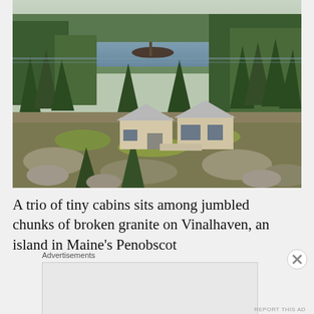[Figure (photo): Aerial view of three small modern cabins with metal roofs nestled among pine trees and granite rocks, with a lake and forested hills in the background on Vinalhaven island, Maine.]
A trio of tiny cabins sits among jumbled chunks of broken granite on Vinalhaven, an island in Maine's Penobscot
Advertisements